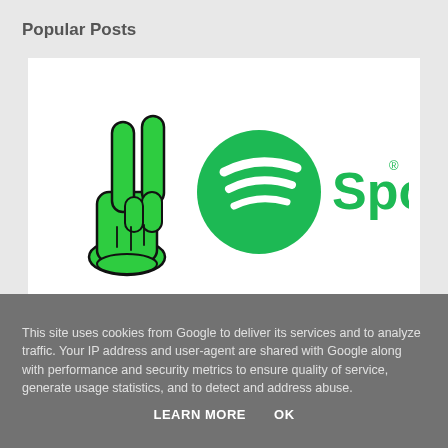Popular Posts
[Figure (logo): A cartoon green peace/victory hand sign (two fingers up) next to the Spotify logo: a green circle with three white horizontal curved lines, followed by the word 'Spotify' in green with a registered trademark symbol.]
This site uses cookies from Google to deliver its services and to analyze traffic. Your IP address and user-agent are shared with Google along with performance and security metrics to ensure quality of service, generate usage statistics, and to detect and address abuse.
LEARN MORE   OK